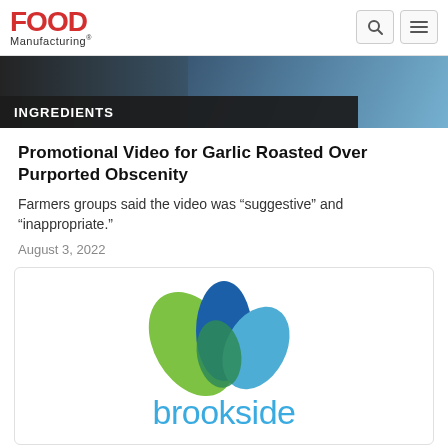Food Manufacturing
[Figure (photo): Hero image showing garlic/chains in dark bluish tones with INGREDIENTS label bar]
Promotional Video for Garlic Roasted Over Purported Obscenity
Farmers groups said the video was “suggestive” and “inappropriate.”
August 3, 2022
[Figure (logo): Brookside logo with green and blue leaf graphic above the word brookside in teal/blue text]